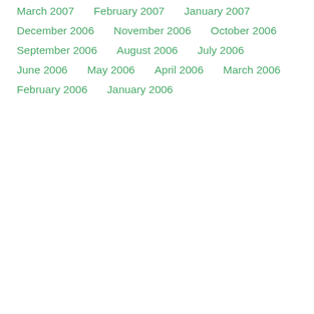March 2007
February 2007
January 2007
December 2006
November 2006
October 2006
September 2006
August 2006
July 2006
June 2006
May 2006
April 2006
March 2006
February 2006
January 2006